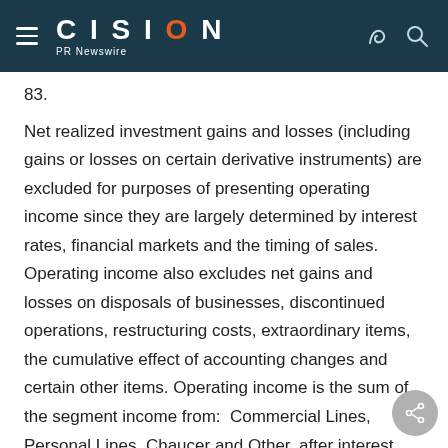CISION PR Newswire
83.
Net realized investment gains and losses (including gains or losses on certain derivative instruments) are excluded for purposes of presenting operating income since they are largely determined by interest rates, financial markets and the timing of sales. Operating income also excludes net gains and losses on disposals of businesses, discontinued operations, restructuring costs, extraordinary items, the cumulative effect of accounting changes and certain other items. Operating income is the sum of the segment income from:  Commercial Lines, Personal Lines, Chaucer and Other, after interest expense and